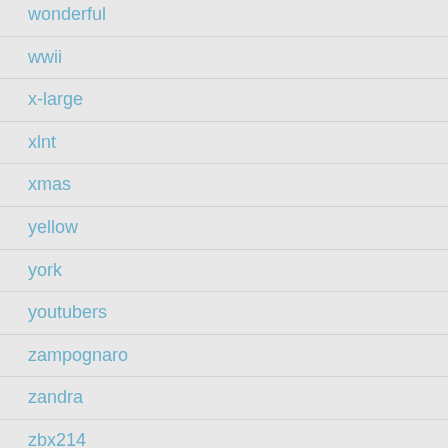wonderful
wwii
x-large
xlnt
xmas
yellow
york
youtubers
zampognaro
zandra
zbx214
zelda
zsolnay